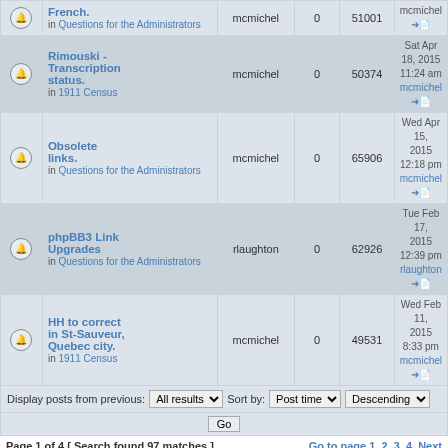|  | Topic | Author | Replies | Views | Last post |
| --- | --- | --- | --- | --- | --- |
| [icon] | French. in Questions for the Administrators | mcmichel | 0 | 51001 | mcmichel → |
| [icon] | Rimouski - Transcription status. in 1911 Census | mcmichel | 0 | 50374 | Sat Apr 18, 2015 11:24 am mcmichel → |
| [icon] | Obsolete links. in Questions for the Administrators | mcmichel | 0 | 65906 | Wed Apr 15, 2015 12:18 pm mcmichel → |
| [icon] | phpBB3 Link Upgrades in Questions for the Administrators | rlaughton | 0 | 62926 | Tue Feb 17, 2015 12:39 pm rlaughton → |
| [icon] | HH to correct in St-Sauveur, Quebec city. in 1911 Census | mcmichel | 0 | 49531 | Wed Feb 11, 2015 8:33 pm mcmichel → |
Display posts from previous: All results  Sort by: Post time  Descending  Go
Page 1 of 4 [ Search found 97 matches ]  Go to page 1, 2, 3, 4  Next
Board index  All times are UTC
Jump to: Select a forum  Go
Powered by phpBB® Forum Software © phpBB Group